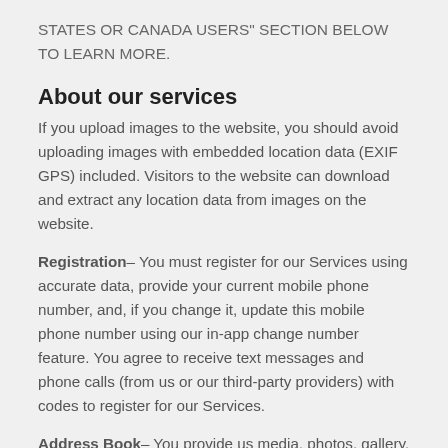STATES OR CANADA USERS" SECTION BELOW TO LEARN MORE.
About our services
If you upload images to the website, you should avoid uploading images with embedded location data (EXIF GPS) included. Visitors to the website can download and extract any location data from images on the website.
Registration– You must register for our Services using accurate data, provide your current mobile phone number, and, if you change it, update this mobile phone number using our in-app change number feature. You agree to receive text messages and phone calls (from us or our third-party providers) with codes to register for our Services.
Address Book– You provide us media, photos, gallery, and